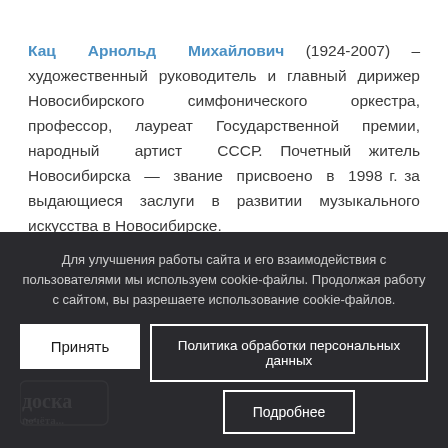Кац Арнольд Михайлович (1924-2007) – художественный руководитель и главный дирижер Новосибирского симфонического оркестра, профессор, лауреат Государственной премии, народный артист СССР. Почетный житель Новосибирска — звание присвоено в 1998 г. за выдающиеся заслуги в развитии музыкального искусства в Новосибирске.
Для улучшения работы сайта и его взаимодействия с пользователями мы используем cookie-файлы. Продолжая работу с сайтом, вы разрешаете использование cookie-файлов.
Принять
Политика обработки персональных данных
Подробнее